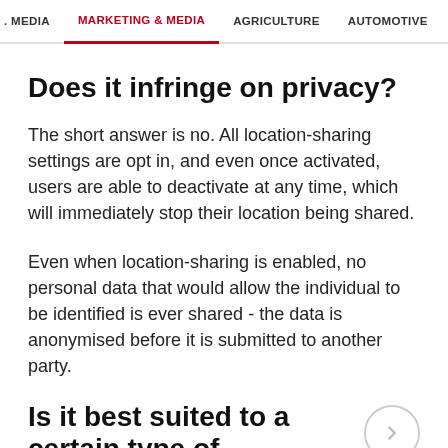. MEDIA   MARKETING & MEDIA   AGRICULTURE   AUTOMOTIVE   CONSTRU
Does it infringe on privacy?
The short answer is no. All location-sharing settings are opt in, and even once activated, users are able to deactivate at any time, which will immediately stop their location being shared.
Even when location-sharing is enabled, no personal data that would allow the individual to be identified is ever shared - the data is anonymised before it is submitted to another party.
Is it best suited to a certain type of business?